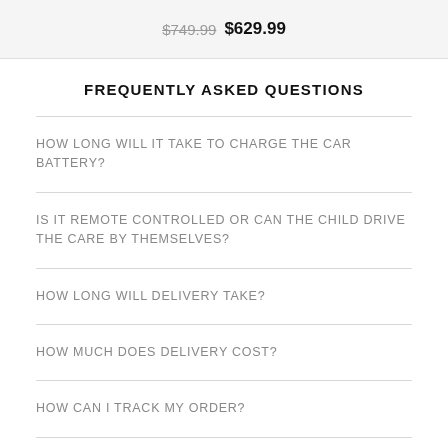$749.99 $629.99
FREQUENTLY ASKED QUESTIONS
HOW LONG WILL IT TAKE TO CHARGE THE CAR BATTERY?
IS IT REMOTE CONTROLLED OR CAN THE CHILD DRIVE THE CARE BY THEMSELVES?
HOW LONG WILL DELIVERY TAKE?
HOW MUCH DOES DELIVERY COST?
HOW CAN I TRACK MY ORDER?
CAN I PICK MY ORDER UP FROM THE STORE?